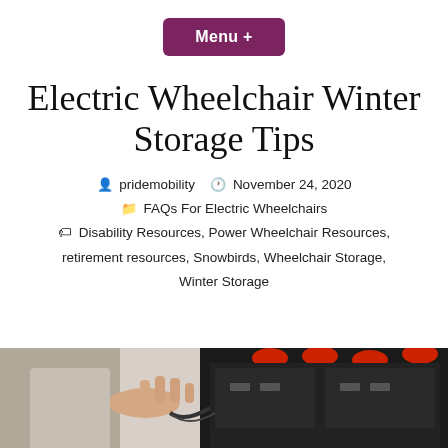Menu +
Electric Wheelchair Winter Storage Tips
pridemobility  November 24, 2020  FAQs For Electric Wheelchairs  Disability Resources, Power Wheelchair Resources, retirement resources, Snowbirds, Wheelchair Storage, Winter Storage
[Figure (photo): Hands working on electric wheelchair batteries — black battery units with red caps being connected or disconnected]